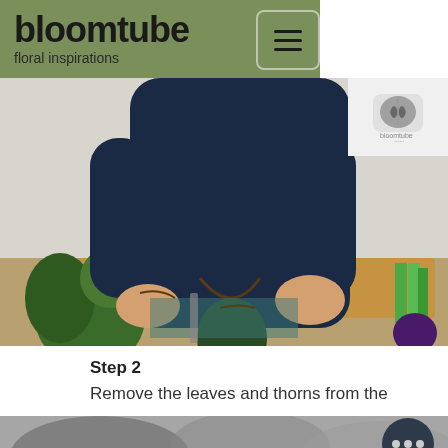bloomtube floral inspirations
[Figure (photo): Person removing leaves and thorns from a rose on a wooden cutting board, with flowers and vegetables visible around them]
[Figure (logo): Bloomtube.com logo with stylized leaf icon]
Step 2
Remove the leaves and thorns from the roses.
[Figure (photo): Blurred bottom image of floral arrangement, partially visible]